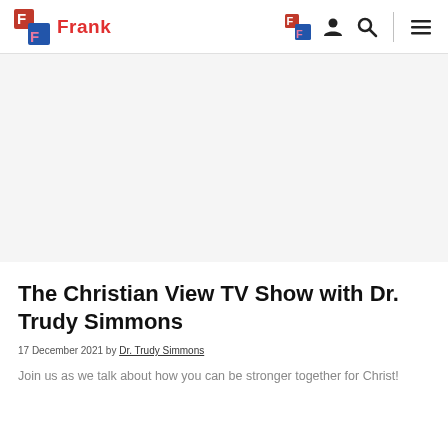Frank
The Christian View TV Show with Dr. Trudy Simmons
17 December 2021 by Dr. Trudy Simmons
Join us as we talk about how you can be stronger together for Christ!